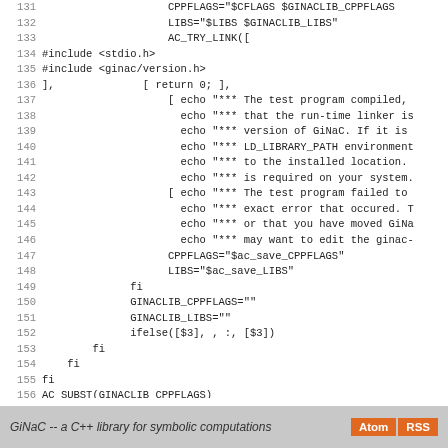Code listing lines 131-159 of GiNaC configure script
GiNaC -- a C++ library for symbolic computations  Atom  RSS